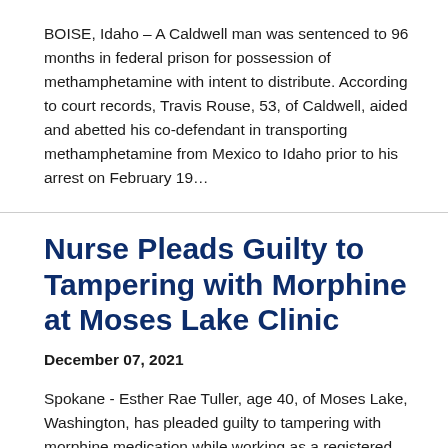BOISE, Idaho – A Caldwell man was sentenced to 96 months in federal prison for possession of methamphetamine with intent to distribute. According to court records, Travis Rouse, 53, of Caldwell, aided and abetted his co-defendant in transporting methamphetamine from Mexico to Idaho prior to his arrest on February 19...
Nurse Pleads Guilty to Tampering with Morphine at Moses Lake Clinic
December 07, 2021
Spokane - Esther Rae Tuller, age 40, of Moses Lake, Washington, has pleaded guilty to tampering with morphine medication while working as a registered